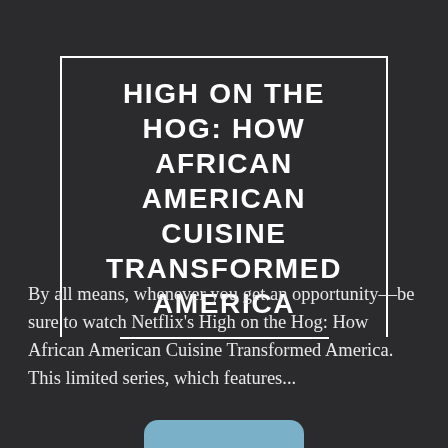HIGH ON THE HOG: HOW AFRICAN AMERICAN CUISINE TRANSFORMED AMERICA
By all means, whenever you get an opportunity—be sure to watch Netflix's High on the Hog: How African American Cuisine Transformed America. This limited series, which features...